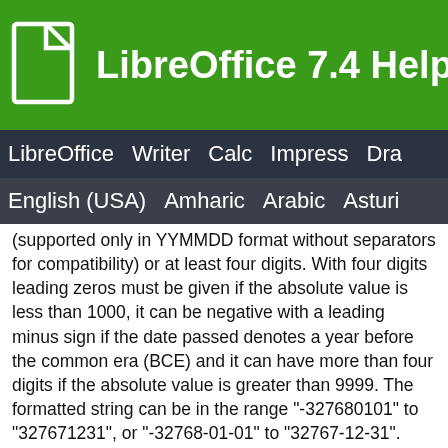LibreOffice 7.4 Help
LibreOffice  Writer  Calc  Impress  Draw
English (USA)  Amharic  Arabic  Asturi
(supported only in YYMMDD format without separators for compatibility) or at least four digits. With four digits leading zeros must be given if the absolute value is less than 1000, it can be negative with a leading minus sign if the date passed denotes a year before the common era (BCE) and it can have more than four digits if the absolute value is greater than 9999. The formatted string can be in the range "-327680101" to "327671231", or "-32768-01-01" to "32767-12-31".
An invalid date results in an error. Year 0 is not accepted, the last day BCE is -0001-12-31 and the next day CE is 0001-01-01. Date